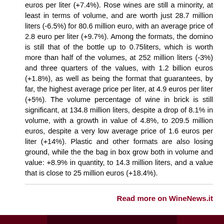euros per liter (+7.4%). Rose wines are still a minority, at least in terms of volume, and are worth just 28.7 million liters (-6.5%) for 80.6 million euro, with an average price of 2.8 euro per liter (+9.7%). Among the formats, the domino is still that of the bottle up to 0.75liters, which is worth more than half of the volumes, at 252 million liters (-3%) and three quarters of the values, with 1.2 billion euros (+1.8%), as well as being the format that guarantees, by far, the highest average price per liter, at 4.9 euros per liter (+5%). The volume percentage of wine in brick is still significant, at 134.8 million liters, despite a drop of 8.1% in volume, with a growth in value of 4.8%, to 209.5 million euros, despite a very low average price of 1.6 euros per liter (+14%). Plastic and other formats are also losing ground, while the the bag in box grow both in volume and value: +8.9% in quantity, to 14.3 million liters, and a value that is close to 25 million euros (+18.4%).
Read more on WineNews.it